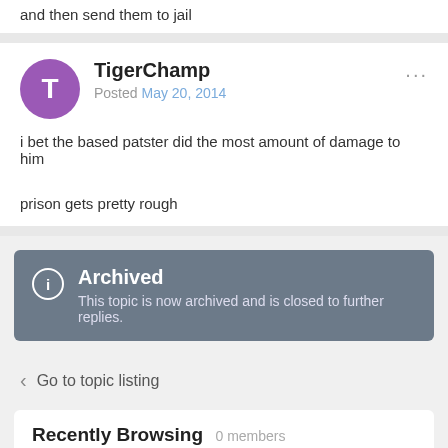and then send them to jail
TigerChamp
Posted May 20, 2014
i bet the based patster did the most amount of damage to him
prison gets pretty rough
Archived
This topic is now archived and is closed to further replies.
Go to topic listing
Recently Browsing   0 members